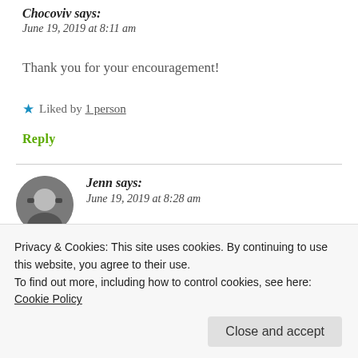Chocoviv says:
June 19, 2019 at 8:11 am
Thank you for your encouragement!
★ Liked by 1 person
Reply
Jenn says:
June 19, 2019 at 8:28 am
Privacy & Cookies: This site uses cookies. By continuing to use this website, you agree to their use.
To find out more, including how to control cookies, see here: Cookie Policy
Close and accept